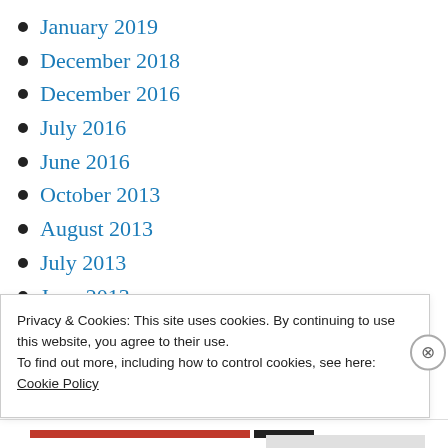January 2019
December 2018
December 2016
July 2016
June 2016
October 2013
August 2013
July 2013
June 2013
May 2013
April 2013
Privacy & Cookies: This site uses cookies. By continuing to use this website, you agree to their use.
To find out more, including how to control cookies, see here:
Cookie Policy
Close and accept